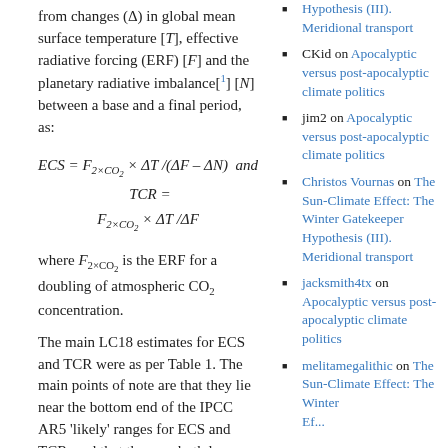from changes (Δ) in global mean surface temperature [T], effective radiative forcing (ERF) [F] and the planetary radiative imbalance[1] [N] between a base and a final period, as:
where F₂×CO₂ is the ERF for a doubling of atmospheric CO₂ concentration.
The main LC18 estimates for ECS and TCR were as per Table 1. The main points of note are that they lie near the bottom end of the IPCC AR5 'likely' ranges for ECS and TCR, and that they are both less uncertain and slightly lower than those given in the predecessor study, Lewis & Curry (2015) when
Hypothesis (III). Meridional transport
CKid on Apocalyptic versus post-apocalyptic climate politics
jim2 on Apocalyptic versus post-apocalyptic climate politics
Christos Vournas on The Sun-Climate Effect: The Winter Gatekeeper Hypothesis (III). Meridional transport
jacksmith4tx on Apocalyptic versus post-apocalyptic climate politics
melitamegalithic on The Sun-Climate Effect: The Winter Gatekeeper Hypothesis (III). Meridional transport